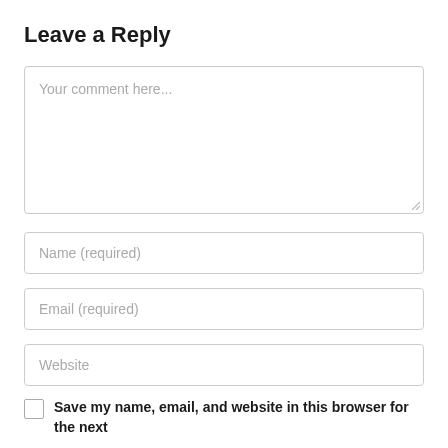Leave a Reply
Your comment here...
Name (required)
Email (required)
Website
Save my name, email, and website in this browser for the next